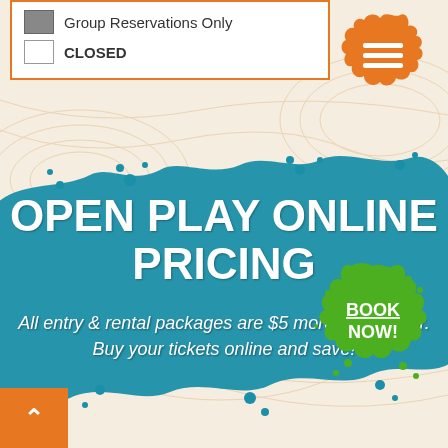Group Reservations Only
CLOSED
[Figure (illustration): Orange paint splat with hamburger menu icon (three white lines)]
OPEN PLAY ONLINE PRICING
All entry & rental packages are $5 more at the door. Buy your tickets online and save!
[Figure (illustration): Green paint splat with BOOK NOW! text]
[Figure (illustration): Orange rectangle back-to-top button with upward arrow]